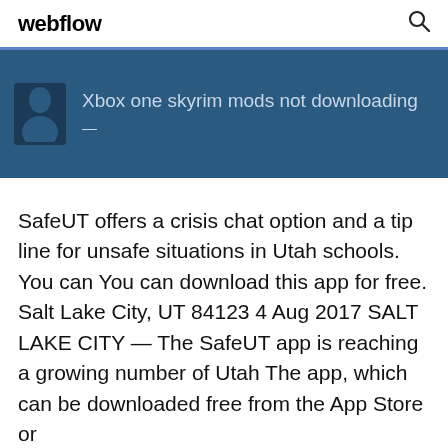webflow
[Figure (screenshot): Dark blue banner with a silhouette avatar icon on the left and the text 'Xbox one skyrim mods not downloading' in grey-blue text]
SafeUT offers a crisis chat option and a tip line for unsafe situations in Utah schools. You can You can download this app for free. Salt Lake City, UT 84123 4 Aug 2017 SALT LAKE CITY — The SafeUT app is reaching a growing number of Utah The app, which can be downloaded free from the App Store or